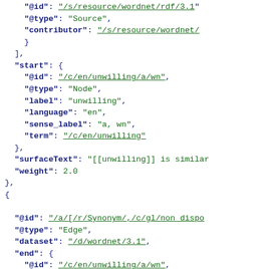JSON-LD code snippet showing linked data structure with fields: @id, @type (Source), contributor, start node with @id /c/en/unwilling/a/wn, @type Node, label unwilling, language en, sense_label a wn, term /c/en/unwilling, surfaceText, weight 2.0, then a new object with @id /a/[/r/Synonym/,/c/gl/non_dispo..., @type Edge, dataset /d/wordnet/3.1, end with @id /c/en/unwilling/a/wn, @type Node, label unwilling, language en